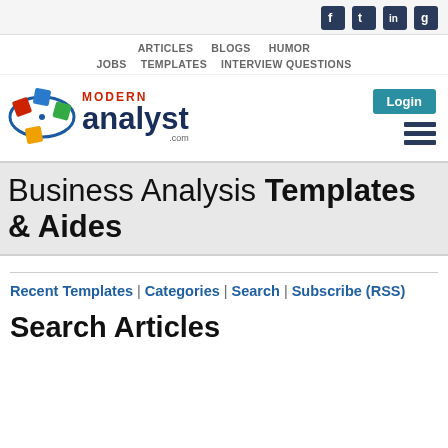[Figure (logo): Social media icons: Facebook, Twitter, LinkedIn, Google+]
ARTICLES | BLOGS | HUMOR | JOBS | TEMPLATES | INTERVIEW QUESTIONS
[Figure (logo): Modern Analyst .com logo with colorful orbiting squares graphic, Login button, and hamburger menu]
Business Analysis Templates & Aides
Recent Templates | Categories | Search | Subscribe (RSS)
Search Articles